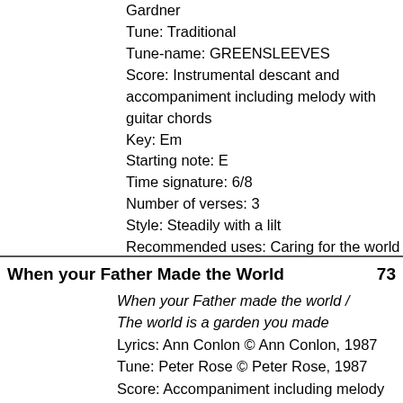Gardner
Tune: Traditional
Tune-name: GREENSLEEVES
Score: Instrumental descant and accompaniment including melody with guitar chords
Key: Em
Starting note: E
Time signature: 6/8
Number of verses: 3
Style: Steadily with a lilt
Recommended uses: Caring for the world
When your Father Made the World    73
When your Father made the world /
The world is a garden you made
Lyrics: Ann Conlon © Ann Conlon, 1987
Tune: Peter Rose © Peter Rose, 1987
Score: Accompaniment including melody and guitar chords